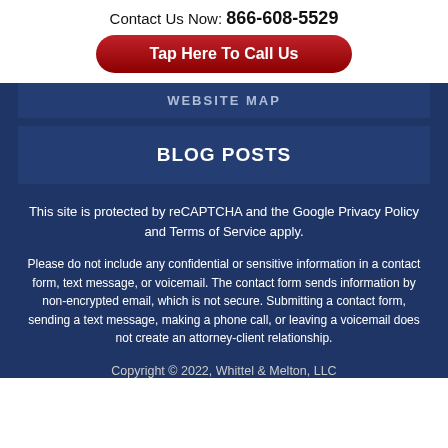Contact Us Now: 866-608-5529
Tap Here To Call Us
WEBSITE MAP
BLOG POSTS
This site is protected by reCAPTCHA and the Google Privacy Policy and Terms of Service apply.
Please do not include any confidential or sensitive information in a contact form, text message, or voicemail. The contact form sends information by non-encrypted email, which is not secure. Submitting a contact form, sending a text message, making a phone call, or leaving a voicemail does not create an attorney-client relationship.
Copyright © 2022, Whittel & Melton, LLC